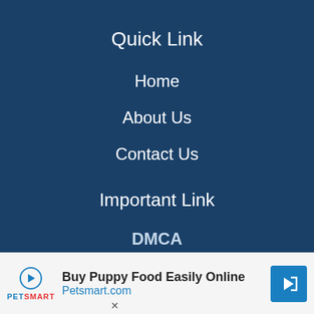Quick Link
Home
About Us
Contact Us
Important Link
DMCA
CCPA
[Figure (infographic): Advertisement banner for PetSmart: 'Buy Puppy Food Easily Online Petsmart.com' with PetSmart logo and navigation arrow icon]